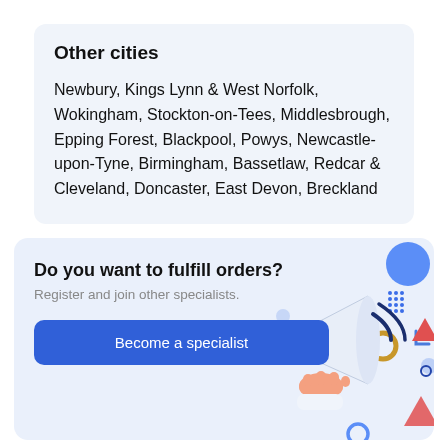Other cities
Newbury, Kings Lynn & West Norfolk, Wokingham, Stockton-on-Tees, Middlesbrough, Epping Forest, Blackpool, Powys, Newcastle-upon-Tyne, Birmingham, Bassetlaw, Redcar & Cleveland, Doncaster, East Devon, Breckland
Do you want to fulfill orders?
Register and join other specialists.
Become a specialist
[Figure (illustration): Illustration of a person holding a megaphone with decorative geometric shapes (circles, triangles, rings) in blue, pink/red, and gold colors on a light blue background.]